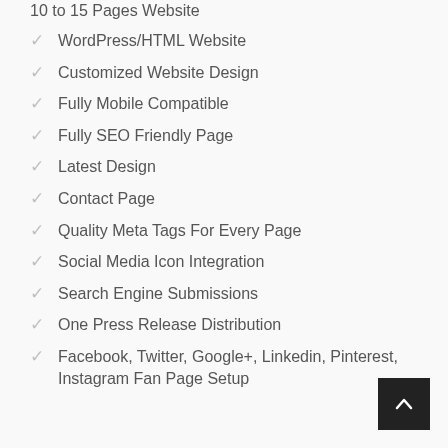10 to 15 Pages Website
WordPress/HTML Website
Customized Website Design
Fully Mobile Compatible
Fully SEO Friendly Page
Latest Design
Contact Page
Quality Meta Tags For Every Page
Social Media Icon Integration
Search Engine Submissions
One Press Release Distribution
Facebook, Twitter, Google+, Linkedin, Pinterest, Instagram Fan Page Setup